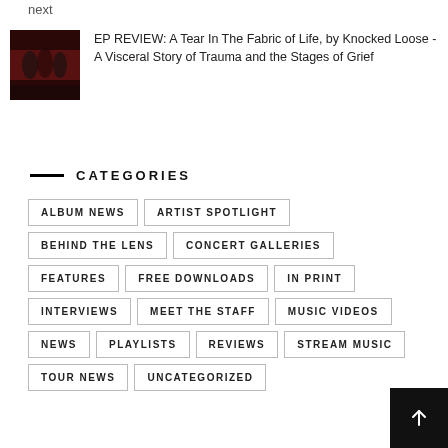next
[Figure (photo): Small album cover thumbnail with dark red/black tones showing band members]
EP REVIEW: A Tear In The Fabric of Life, by Knocked Loose - A Visceral Story of Trauma and the Stages of Grief
CATEGORIES
ALBUM NEWS
ARTIST SPOTLIGHT
BEHIND THE LENS
CONCERT GALLERIES
FEATURES
FREE DOWNLOADS
IN PRINT
INTERVIEWS
MEET THE STAFF
MUSIC VIDEOS
NEWS
PLAYLISTS
REVIEWS
STREAM MUSIC
TOUR NEWS
UNCATEGORIZED